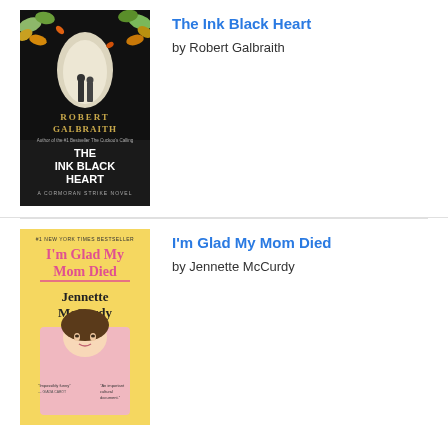[Figure (illustration): Book cover of 'The Ink Black Heart' by Robert Galbraith. Dark background with two figures walking toward light, surrounded by autumn leaves. Text reads: ROBERT GALBRAITH, THE INK BLACK HEART, A CORMORAN STRIKE NOVEL.]
The Ink Black Heart
by Robert Galbraith
[Figure (illustration): Book cover of 'I'm Glad My Mom Died' by Jennette McCurdy. Yellow background with pink text and photo of the author. Text reads: #1 NEW YORK TIMES BESTSELLER, I'm Glad My Mom Died, Jennette McCurdy.]
I'm Glad My Mom Died
by Jennette McCurdy